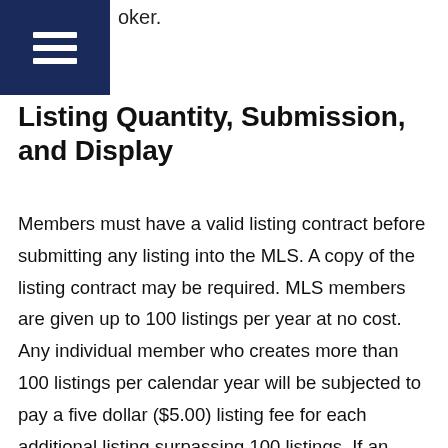oker.
[Figure (other): Dark navy blue square with white hamburger menu icon (three horizontal lines)]
Listing Quantity, Submission, and Display
Members must have a valid listing contract before submitting any listing into the MLS. A copy of the listing contract may be required. MLS members are given up to 100 listings per year at no cost. Any individual member who creates more than 100 listings per calendar year will be subjected to pay a five dollar ($5.00) listing fee for each additional listing surpassing 100 listings. If an individual member creates more than 200 listings within a calendar year, they will be charged $5 retroactively for every listing entered in